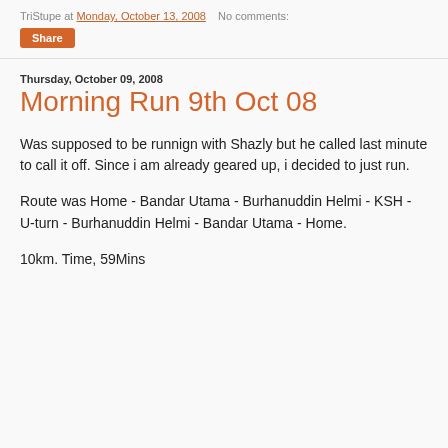TriStupe at Monday, October 13, 2008   No comments:
Share
Thursday, October 09, 2008
Morning Run 9th Oct 08
Was supposed to be runnign with Shazly but he called last minute to call it off. Since i am already geared up, i decided to just run.
Route was Home - Bandar Utama - Burhanuddin Helmi - KSH - U-turn - Burhanuddin Helmi - Bandar Utama - Home.
10km. Time, 59Mins